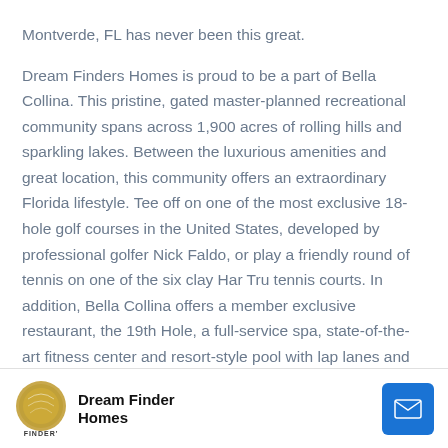Montverde, FL has never been this great.

Dream Finders Homes is proud to be a part of Bella Collina. This pristine, gated master-planned recreational community spans across 1,900 acres of rolling hills and sparkling lakes. Between the luxurious amenities and great location, this community offers an extraordinary Florida lifestyle. Tee off on one of the most exclusive 18-hole golf courses in the United States, developed by professional golfer Nick Faldo, or play a friendly round of tennis on one of the six clay Har Tru tennis courts. In addition, Bella Collina offers a member exclusive restaurant, the 19th Hole, a full-service spa, state-of-the-art fitness center and resort-style pool with lap lanes and food & beverage service. Furthermore, this community is conveniently located near the Minneola Turnpike Exchange which connects to SR-429. Living in Bella Collina offers homeowners short drives to upscale
Dream Finder Homes